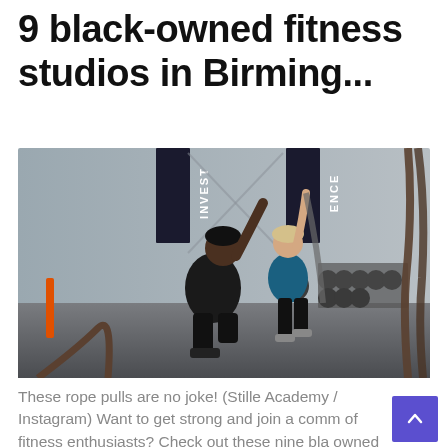9 black-owned fitness studios in Birming...
[Figure (photo): A fitness trainer kneeling and assisting a woman pulling on battle ropes in a gym. Banners reading 'INVEST' and 'ENCE' hang in the background. Dumbbells on a rack and a medicine ball are visible in the background.]
These rope pulls are no joke! (Stille Academy / Instagram) Want to get strong and join a comm of fitness enthusiasts? Check out these nine bla owned fitness studios in the Birmingham area to